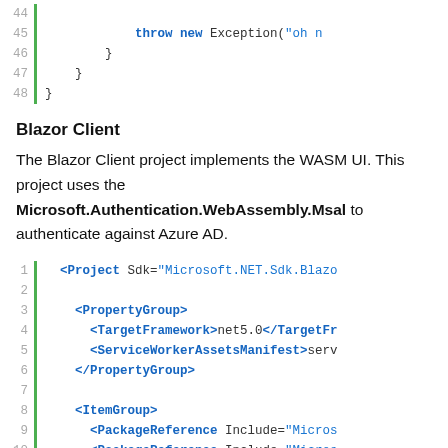[Figure (screenshot): Code block showing lines 44-48 with throw new Exception and closing braces in C#]
Blazor Client
The Blazor Client project implements the WASM UI. This project uses the Microsoft.Authentication.WebAssembly.Msal to authenticate against Azure AD.
[Figure (screenshot): Code block showing lines 1-10 of an XML project file with Project, PropertyGroup, TargetFramework, ServiceWorkerAssetsManifest, ItemGroup, and PackageReference elements]